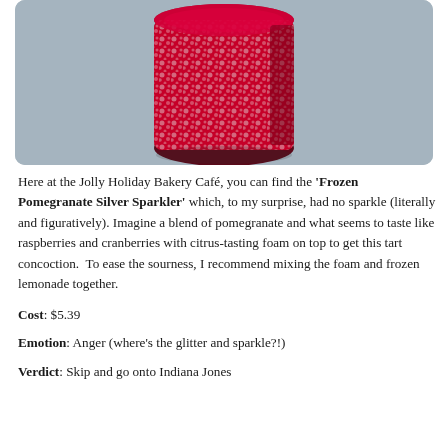[Figure (photo): Photo of a Frozen Pomegranate Silver Sparkler drink in a cup, showing a deep red/crimson frozen beverage with textured surface, on a blue-gray background.]
Here at the Jolly Holiday Bakery Café, you can find the 'Frozen Pomegranate Silver Sparkler' which, to my surprise, had no sparkle (literally and figuratively). Imagine a blend of pomegranate and what seems to taste like raspberries and cranberries with citrus-tasting foam on top to get this tart concoction.  To ease the sourness, I recommend mixing the foam and frozen lemonade together.
Cost: $5.39
Emotion: Anger (where's the glitter and sparkle?!)
Verdict: Skip and go onto Indiana Jones